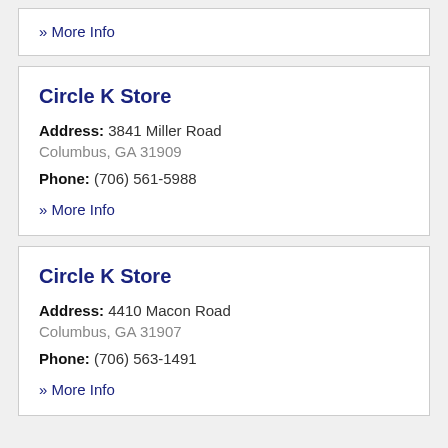» More Info
Circle K Store
Address: 3841 Miller Road Columbus, GA 31909
Phone: (706) 561-5988
» More Info
Circle K Store
Address: 4410 Macon Road Columbus, GA 31907
Phone: (706) 563-1491
» More Info